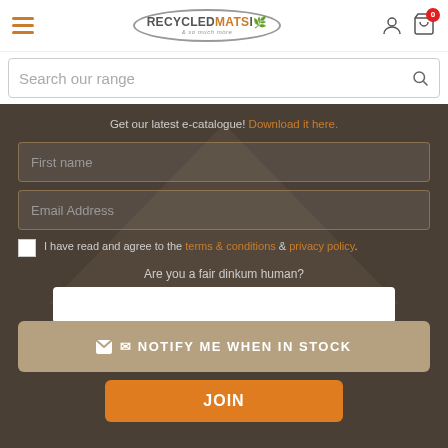RecycledMats logo, hamburger menu, user icon, cart icon with badge 0
Search our range
Get our latest e-catalogue! Download it here.
First name (form field)
Email Address (form field)
I have read and agree to the terms & conditions & privacy policy
Are you a fair dinkum human?
✉ NOTIFY ME WHEN IN STOCK
JOIN